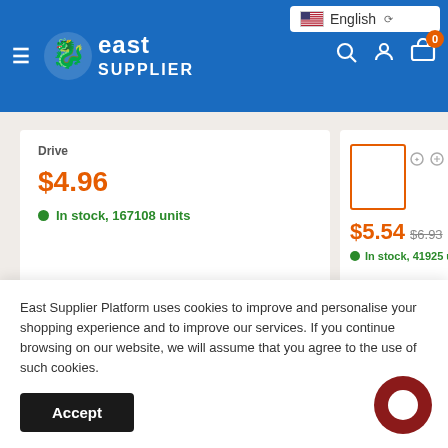[Figure (screenshot): East Supplier website header with logo, English language selector, search, account, and cart icons]
$4.96
In stock, 167108 units
$5.54  $6.93
In stock, 41925 uni...
Choose options
Choose o...
East Supplier Platform uses cookies to improve and personalise your shopping experience and to improve our services. If you continue browsing on our website, we will assume that you agree to the use of such cookies.
Accept